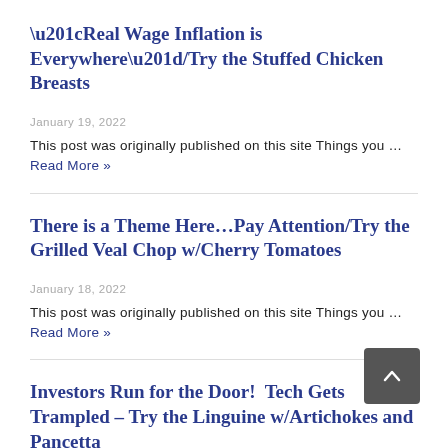“Real Wage Inflation is Everywhere”/Try the Stuffed Chicken Breasts
January 19, 2022
This post was originally published on this site Things you …Read More »
There is a Theme Here…Pay Attention/Try the Grilled Veal Chop w/Cherry Tomatoes
January 18, 2022
This post was originally published on this site Things you …Read More »
Investors Run for the Door!  Tech Gets Trampled – Try the Linguine w/Artichokes and Pancetta
January 14, 2022
This post was originally published on this site Things